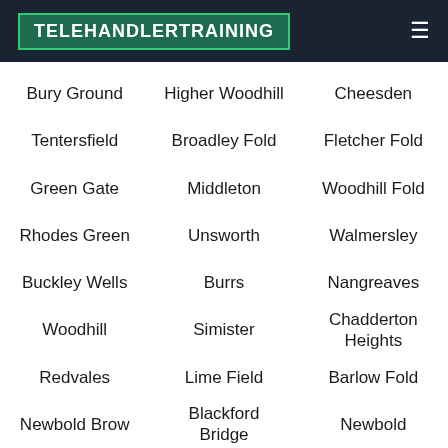TELEHANDLERTRAINING
Bury Ground
Higher Woodhill
Cheesden
Tentersfield
Broadley Fold
Fletcher Fold
Green Gate
Middleton
Woodhill Fold
Rhodes Green
Unsworth
Walmersley
Buckley Wells
Burrs
Nangreaves
Woodhill
Simister
Chadderton Heights
Redvales
Lime Field
Barlow Fold
Newbold Brow
Blackford Bridge
Newbold